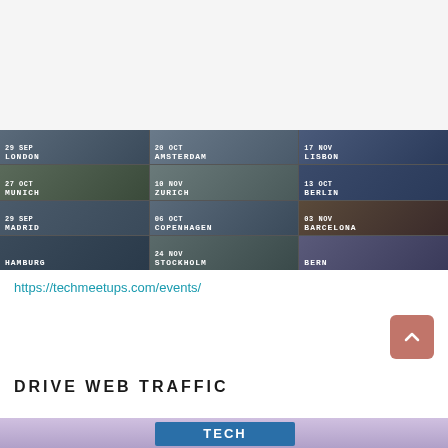[Figure (infographic): Event schedule grid showing tech meetup dates and cities: 29 Sep London, 20 Oct Amsterdam, 17 Nov Lisbon, 27 Oct Munich, 10 Nov Zurich, 13 Oct Berlin, 29 Sep Madrid, 06 Oct Copenhagen, 03 Nov Barcelona, Hamburg, 24 Nov Stockholm, Bern]
https://techmeetups.com/events/
DRIVE WEB TRAFFIC
[Figure (photo): Bottom partial image showing a tech event banner with 'TECH' text visible]